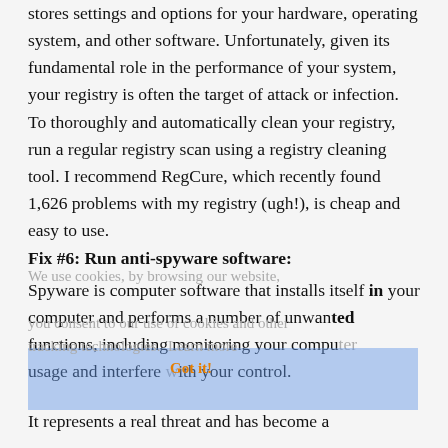stores settings and options for your hardware, operating system, and other software. Unfortunately, given its fundamental role in the performance of your system, your registry is often the target of attack or infection. To thoroughly and automatically clean your registry, run a regular registry scan using a registry cleaning tool. I recommend RegCure, which recently found 1,626 problems with my registry (ugh!), is cheap and easy to use.
Fix #6: Run anti-spyware software:
Spyware is computer software that installs itself in your computer and performs a number of unwanted functions, including monitoring your computer usage and interfere with your control.
It represents a real threat and has become a